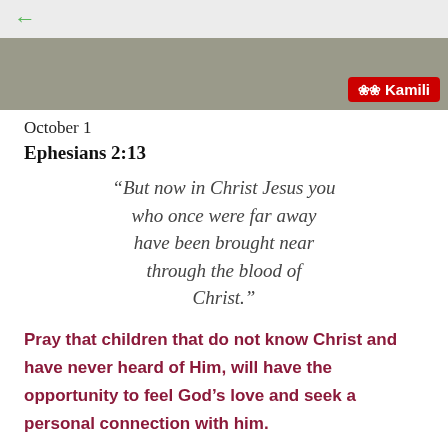← (back navigation)
[Figure (photo): Top image strip showing a street scene with a red Kamili branded banner/sign in the bottom right corner]
October 1
Ephesians 2:13
“But now in Christ Jesus you who once were far away have been brought near through the blood of Christ.”
Pray that children that do not know Christ and have never heard of Him, will have the opportunity to feel God’s love and seek a personal connection with him.